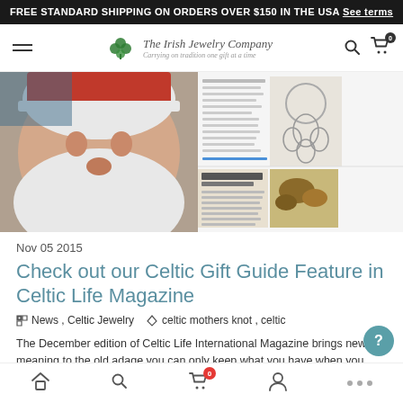FREE STANDARD SHIPPING ON ORDERS OVER $150 IN THE USA See terms
[Figure (logo): The Irish Jewelry Company logo with shamrock/clover graphic and tagline 'Carrying on tradition one gift at a time']
[Figure (photo): Magazine spread showing Santa Claus closeup on the left, Celtic jewelry pendant in the middle, text columns on the right, and a food image with book cover at the bottom right]
Nov 05 2015
Check out our Celtic Gift Guide Feature in Celtic Life Magazine
News , Celtic Jewelry   celtic mothers knot , celtic
The December edition of Celtic Life International Magazine brings new meaning to the old adage you can only keep what you have when you give it away. Check out our cover story on the Gift of Giving during the holiday season, learn about Belfast's 'Black
Home  Search  Cart (0)  Account  More